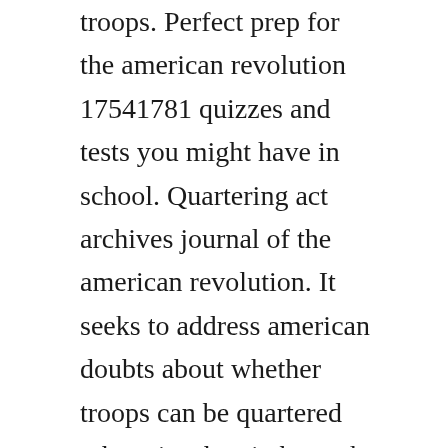troops. Perfect prep for the american revolution 17541781 quizzes and tests you might have in school. Quartering act archives journal of the american revolution. It seeks to address american doubts about whether troops can be quartered otherwise than in barracks if barracks were already provided for them by provincial and local authorities. June 2, 1774 the intolerable acts, including the reestablishment of the quartering act, requiring colonists allow british soldiers into their homes, and the curtailment of massachusetts selfrule, are enacted by the